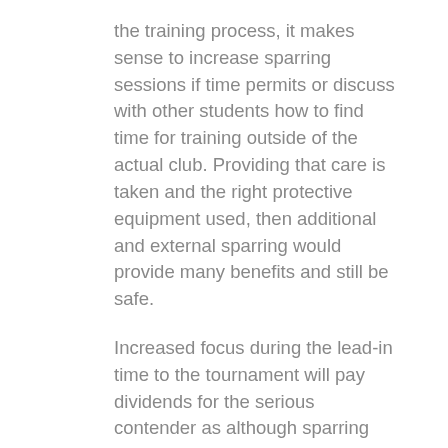the training process, it makes sense to increase sparring sessions if time permits or discuss with other students how to find time for training outside of the actual club. Providing that care is taken and the right protective equipment used, then additional and external sparring would provide many benefits and still be safe.
Increased focus during the lead-in time to the tournament will pay dividends for the serious contender as although sparring bouts are short (usually a few minutes) it is all about staying alert, concentrating and intuitively picking up signals from the opponent as to which moves will be used against you. Lack of concentration can be costly as most tournaments operate a points system and specific moves that connect on key areas of the body will award the opponent more points. Tournaments are challenging, intense and incredibly demanding on